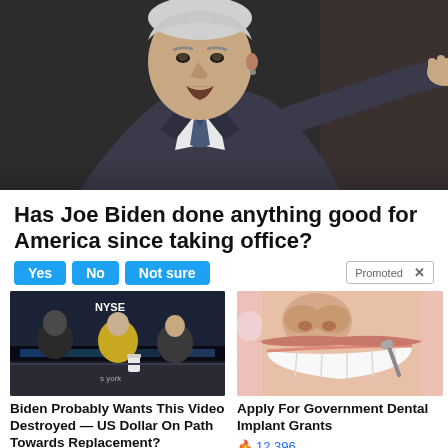[Figure (photo): Photo of Joe Biden in a suit pointing, dark background]
Has Joe Biden done anything good for America since taking office?
Yes  No  Not sure   Promoted X
[Figure (photo): TV studio scene with people at a desk, NYSE backdrop]
Biden Probably Wants This Video Destroyed — US Dollar On Path Towards Replacement?
🔥 585
[Figure (photo): Close-up of dental implant procedure, teeth and gloved hands]
Apply For Government Dental Implant Grants
🔥 12,396